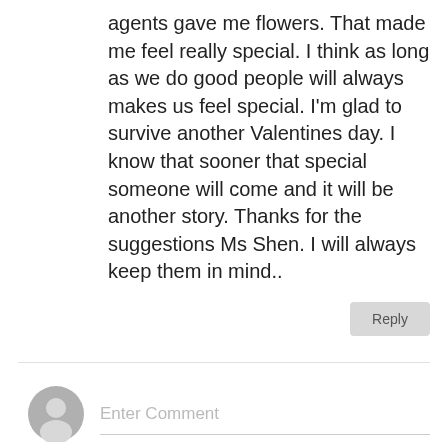agents gave me flowers. That made me feel really special. I think as long as we do good people will always makes us feel special. I'm glad to survive another Valentines day. I know that sooner that special someone will come and it will be another story. Thanks for the suggestions Ms Shen. I will always keep them in mind..
Reply
Enter Comment